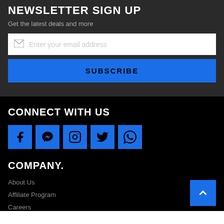NEWSLETTER SIGN UP
Get the latest deals and more
Enter your email address
SUBSCRIBE
CONNECT WITH US
[Figure (infographic): Five social media icons in blue squares: Facebook, Messenger, Instagram, Twitter, WhatsApp]
COMPANY.
About Us
Affiliate Program
Careers